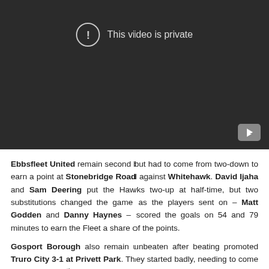[Figure (screenshot): Embedded video player showing a dark/black screen with a circle-exclamation icon and the text 'This video is private'. A YouTube play button icon is visible in the bottom-right corner.]
Ebbsfleet United remain second but had to come from two-down to earn a point at Stonebridge Road against Whitehawk. David Ijaha and Sam Deering put the Hawks two-up at half-time, but two substitutions changed the game as the players sent on – Matt Godden and Danny Haynes – scored the goals on 54 and 79 minutes to earn the Fleet a share of the points.
Gosport Borough also remain unbeaten after beating promoted Truro City 3-1 at Privett Park. They started badly, needing to come back from a 27th minute Matt Wright goal but Brett Poate levelled in the